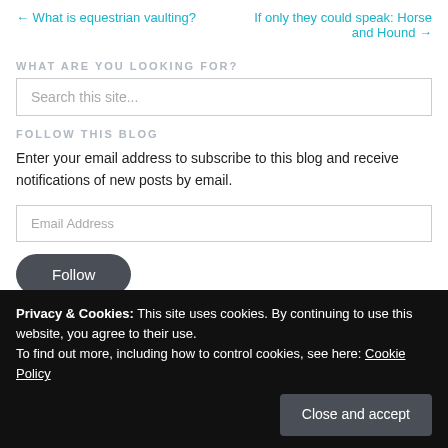← What is equestrian vaulting?
If only they could speak: Horse and Hound →
WHAT ARE YOU LOOKING FOR?
Search this site...
FOLLOW THIS BLOG
Enter your email address to subscribe to this blog and receive notifications of new posts by email.
Email Address
Follow
Privacy & Cookies: This site uses cookies. By continuing to use this website, you agree to their use.
To find out more, including how to control cookies, see here: Cookie Policy
Close and accept